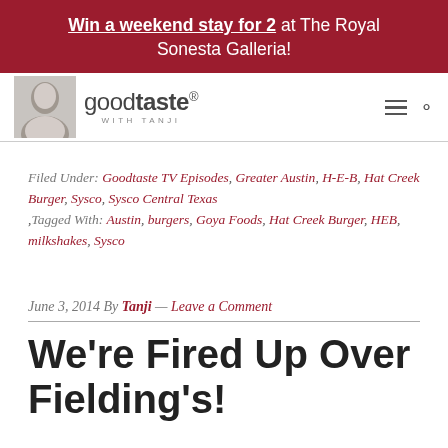Win a weekend stay for 2 at The Royal Sonesta Galleria!
[Figure (logo): Goodtaste with Tanji website header logo with woman photo, hamburger menu and search icons]
Filed Under: Goodtaste TV Episodes, Greater Austin, H-E-B, Hat Creek Burger, Sysco, Sysco Central Texas ,Tagged With: Austin, burgers, Goya Foods, Hat Creek Burger, HEB, milkshakes, Sysco
June 3, 2014 By Tanji — Leave a Comment
We're Fired Up Over Fielding's!